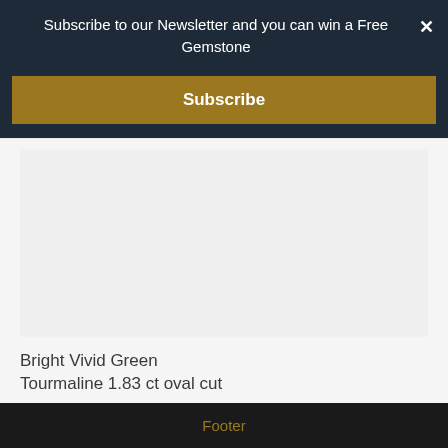Subscribe to our Newsletter and you can win a Free Gemstone
Subscribe
[Figure (photo): Product image placeholder area for gemstone]
Bright Vivid Green
Tourmaline 1.83 ct oval cut
$340.00
Footer